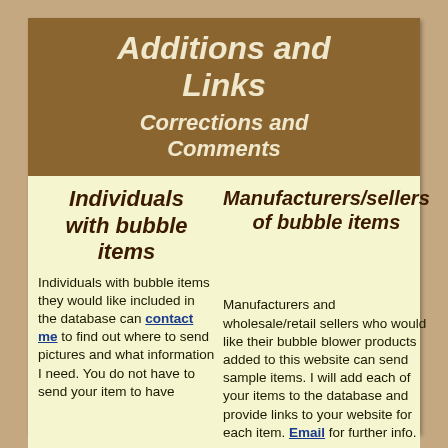Additions and Links
Corrections and Comments
Individuals with bubble items
Manufacturers/sellers of bubble items
Individuals with bubble items they would like included in the database can contact me to find out where to send pictures and what information I need. You do not have to send your item to have
Manufacturers and wholesale/retail sellers who would like their bubble blower products added to this website can send sample items. I will add each of your items to the database and provide links to your website for each item. Email for further info.